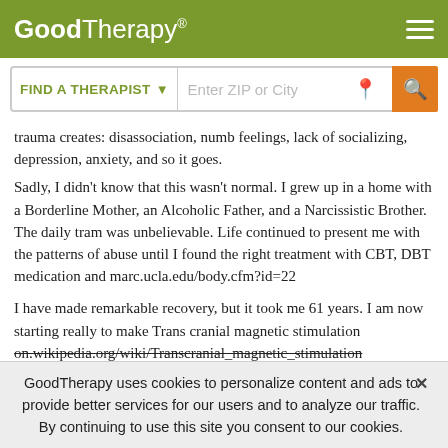GoodTherapy®
FIND A THERAPIST   Enter ZIP or City
trauma creates: disassociation, numb feelings, lack of socializing, depression, anxiety, and so it goes.
Sadly, I didn't know that this wasn't normal. I grew up in a home with a Borderline Mother, an Alcoholic Father, and a Narcissistic Brother. The daily tram was unbelievable. Life continued to present me with the patterns of abuse until I found the right treatment with CBT, DBT medication and marc.ucla.edu/body.cfm?id=22

I have made remarkable recovery, but it took me 61 years. I am now starting really to make Trans cranial magnetic stimulation on.wikipedia.org/wiki/Transcranial_magnetic_stimulation
GoodTherapy uses cookies to personalize content and ads to provide better services for our users and to analyze our traffic. By continuing to use this site you consent to our cookies.